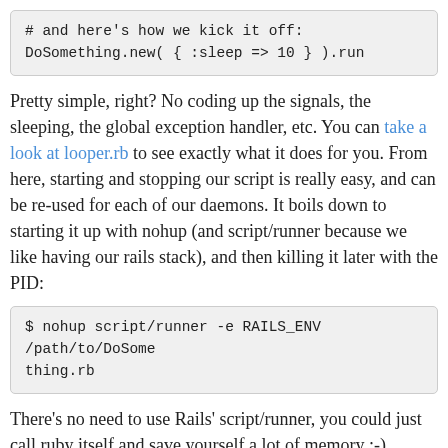# and here's how we kick it off:
DoSomething.new( { :sleep => 10 } ).run
Pretty simple, right? No coding up the signals, the sleeping, the global exception handler, etc. You can take a look at looper.rb to see exactly what it does for you. From here, starting and stopping our script is really easy, and can be re-used for each of our daemons. It boils down to starting it up with nohup (and script/runner because we like having our rails stack), and then killing it later with the PID:
$ nohup script/runner -e RAILS_ENV /path/to/DoSomething.rb
There's no need to use Rails' script/runner, you could just call ruby itself and save yourself a lot of memory ;-)
The following is an init script that we use to start and stop any of our Looper daemons: